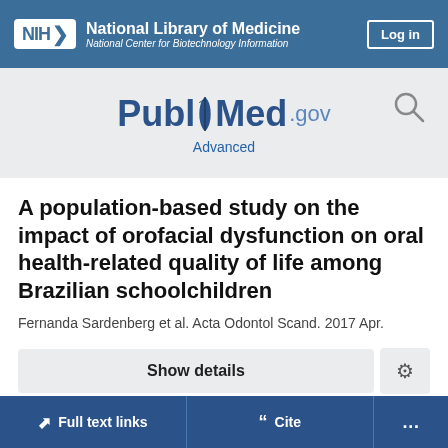[Figure (logo): NIH National Library of Medicine header bar with NIH logo, National Library of Medicine name, National Center for Biotechnology Information subtitle, and Log in button]
[Figure (logo): PubMed.gov logo with search icon and Advanced link]
A population-based study on the impact of orofacial dysfunction on oral health-related quality of life among Brazilian schoolchildren
Fernanda Sardenberg et al. Acta Odontol Scand. 2017 Apr.
Show details
Full text links | Cite